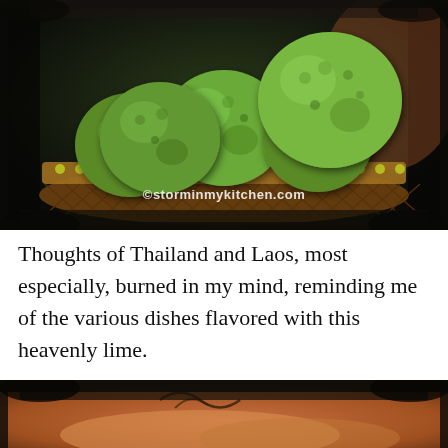[Figure (photo): Close-up photo of several green kaffir limes piled in a decorative woven basket with yellow-green beaded and latticed rim, on a dark background. Watermark reads '©storminmykitchen.com'.]
Thoughts of Thailand and Laos, most especially, burned in my mind, reminding me of the various dishes flavored with this heavenly lime.
[Figure (photo): Partial bottom photo showing a blurred warm-toned scene with dark grunge border at top, partially visible food or decorative elements.]